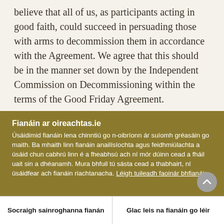believe that all of us, as participants acting in good faith, could succeed in persuading those with arms to decommission them in accordance with the Agreement. We agree that this should be in the manner set down by the Independent Commission on Decommissioning within the terms of the Good Friday Agreement.
Fianáin ar oireachtas.ie
Úsáidimid fianáin lena chinntiú go n-oibríonn ár suíomh gréasáin go maith. Ba mhaith linn fianáin anailísíochta agus feidhmiúlachta a úsáid chun cabhrú linn é a fheabhsú ach ní mór dúinn cead a fháil uait sin a dhéanamh. Mura bhfuil tú sásta cead a thabhairt, ní úsáidfear ach fianáin riachtanacha. Léigh tuileadh faoinár bhfianáin
Socraigh sainroghanna fianán
Glac leis na fianáin go léir